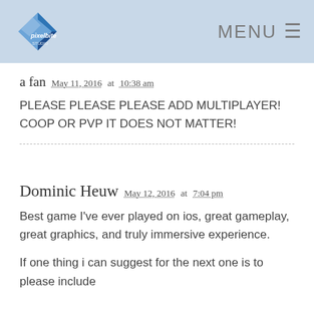pixelbite MENU
a fan  May 11, 2016 at 10:38 am
PLEASE PLEASE PLEASE ADD MULTIPLAYER! COOP OR PVP IT DOES NOT MATTER!
Dominic Heuw  May 12, 2016 at 7:04 pm
Best game I've ever played on ios, great gameplay, great graphics, and truly immersive experience.
If one thing i can suggest for the next one is to please include